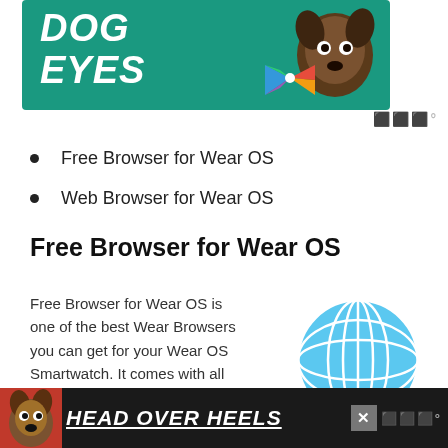[Figure (illustration): Advertisement banner showing a dog with a colorful bowtie on a teal background with bold italic text reading 'DOG EYES']
Free Browser for Wear OS
Web Browser for Wear OS
Free Browser for Wear OS
Free Browser for Wear OS is one of the best Wear Browsers you can get for your Wear OS Smartwatch. It comes with all the features which you can expect from a great
[Figure (illustration): Blue globe/world icon]
[Figure (illustration): Advertisement banner at bottom showing a dog and bold white italic underlined text 'HEAD OVER HEELS' on dark background]